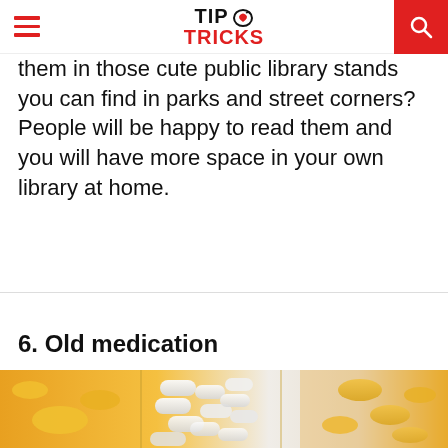TIP TRICKS
them in those cute public library stands you can find in parks and street corners? People will be happy to read them and you will have more space in your own library at home.
6. Old medication
[Figure (photo): Orange prescription pill bottles with white and yellow capsules/tablets visible inside them, close-up photo]